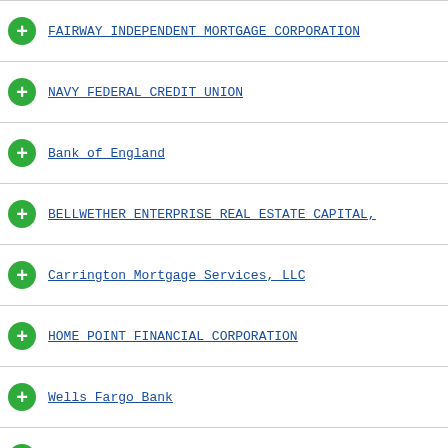FAIRWAY INDEPENDENT MORTGAGE CORPORATION
NAVY FEDERAL CREDIT UNION
Bank of England
BELLWETHER ENTERPRISE REAL ESTATE CAPITAL,
Carrington Mortgage Services, LLC
HOME POINT FINANCIAL CORPORATION
Wells Fargo Bank
BROKER SOLUTIONS, INC.
MOVEMENT MORTGAGE, LLC